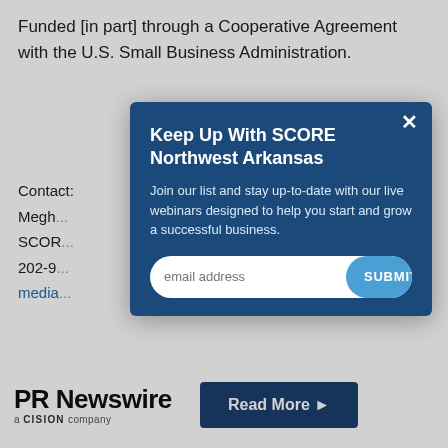Funded [in part] through a Cooperative Agreement with the U.S. Small Business Administration.
Contact:
Megh...
SCOR...
202-9...
media...
SOUR...
[Figure (other): Modal popup overlay: 'Keep Up With SCORE Northwest Arkansas' with email subscription form and SUBMIT button on a dark blue background, with a close (x) button in the top right.]
[Figure (logo): PR Newswire - a CISION company logo on the left, with a dark blue 'Read More ▶' button on the right.]